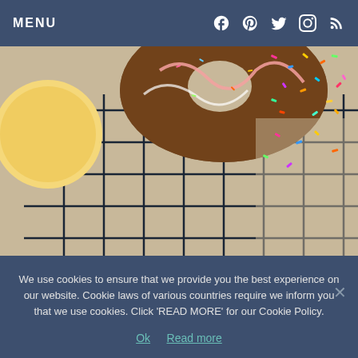MENU
[Figure (photo): Top-down view of frosted donuts and cookies on a wire cooling rack, with colorful sprinkles scattered around on parchment paper. Visible: a plain round cookie on the left, a chocolate-frosted donut in the center with pink/white drizzle, and lots of multicolor sprinkles on the right.]
We use cookies to ensure that we provide you the best experience on our website. Cookie laws of various countries require we inform you that we use cookies. Click 'READ MORE' for our Cookie Policy.
Ok   Read more